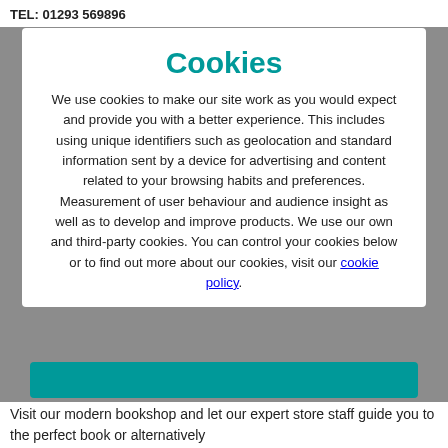TEL: 01293 569896
Cookies
We use cookies to make our site work as you would expect and provide you with a better experience. This includes using unique identifiers such as geolocation and standard information sent by a device for advertising and content related to your browsing habits and preferences. Measurement of user behaviour and audience insight as well as to develop and improve products. We use our own and third-party cookies. You can control your cookies below or to find out more about our cookies, visit our cookie policy.
Visit our modern bookshop and let our expert store staff guide you to the perfect book or alternatively